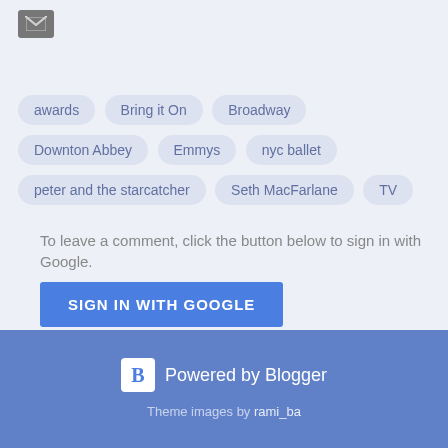[Figure (logo): Email/envelope icon in gray square]
awards
Bring it On
Broadway
Downton Abbey
Emmys
nyc ballet
peter and the starcatcher
Seth MacFarlane
TV
To leave a comment, click the button below to sign in with Google.
SIGN IN WITH GOOGLE
Powered by Blogger
Theme images by rami_ba